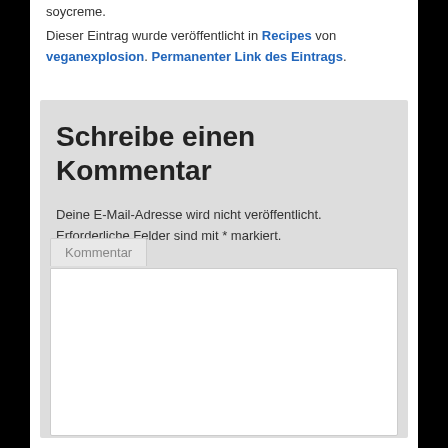soycreme.
Dieser Eintrag wurde veröffentlicht in Recipes von veganexplosion. Permanenter Link des Eintrags.
Schreibe einen Kommentar
Deine E-Mail-Adresse wird nicht veröffentlicht. Erforderliche Felder sind mit * markiert.
Kommentar